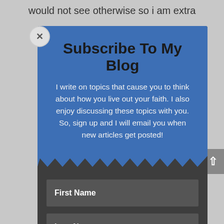would not see otherwise so i am extra
[Figure (screenshot): Blog subscription modal popup with blue header containing title 'Subscribe To My Blog', descriptive text, zigzag border transition to dark gray section with form fields for First Name, Last Name, and Email. A close (x) button is in the top-left corner, and a scroll-up arrow button on the right edge.]
Subscribe To My Blog
I write on topics that cause you to think about how you live out your faith. I also enjoy discussing these topics with you. So, sign up and I will email you when new articles get posted!
First Name
Last Name
Email